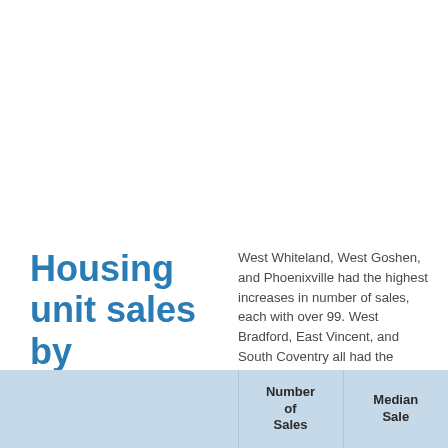Housing unit sales by municipality 2020
West Whiteland, West Goshen, and Phoenixville had the highest increases in number of sales, each with over 99. West Bradford, East Vincent, and South Coventry all had the largest decreases in number of home sales, each with at least a difference of 15.
|  | Number of Sales | Median Sale |
| --- | --- | --- |